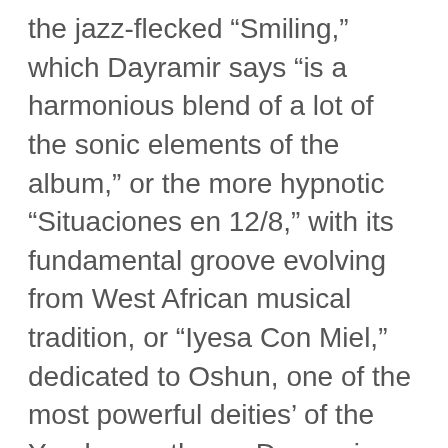the jazz-flecked “Smiling,” which Dayramir says “is a harmonious blend of a lot of the sonic elements of the album,” or the more hypnotic “Situaciones en 12/8,” with its fundamental groove evolving from West African musical tradition, or “Iyesa Con Miel,” dedicated to Oshun, one of the most powerful deities’ of the Yoruba pantheon, Dayramir sets his compass for a modern and timeless confluence of sound.
Dayramir’s journey may have begun in Cuba, but there’s been no shortage of